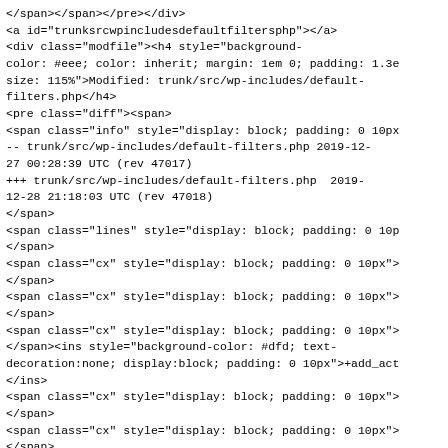</span></span></pre></div>
<a id="trunksrcwpincludesdefaultfiltersphp"></a>
<div class="modfile"><h4 style="background-color: #eee; color: inherit; margin: 1em 0; padding: 1.3e size: 115%">Modified: trunk/src/wp-includes/default-filters.php</h4>
<pre class="diff"><span>
<span class="info" style="display: block; padding: 0 10px">-- trunk/src/wp-includes/default-filters.php 2019-12-27 00:28:39 UTC (rev 47017)
+++ trunk/src/wp-includes/default-filters.php  2019-12-28 21:18:03 UTC (rev 47018)
</span>
<span class="lines" style="display: block; padding: 0 10p </span>
<span class="cx" style="display: block; padding: 0 10px"> </span>
<span class="cx" style="display: block; padding: 0 10px"> </span>
<span class="cx" style="display: block; padding: 0 10px"> </span><ins style="background-color: #dfd; text-decoration:none; display:block; padding: 0 10px">+add_act </ins>
<span class="cx" style="display: block; padding: 0 10px"> </span>
<span class="cx" style="display: block; padding: 0 10px"> </span>
<span class="cx" style="display: block; padding: 0 10px"> </span></span></pre></div>
<a id="trunksrcwpincludesfunctionsphp"></a>